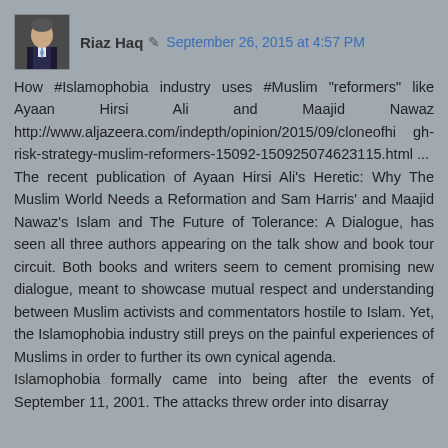Riaz Haq  September 26, 2015 at 4:57 PM
How #Islamophobia industry uses #Muslim "reformers" like Ayaan Hirsi Ali and Maajid Nawaz http://www.aljazeera.com/indepth/opinion/2015/09/cloneofhigh-risk-strategy-muslim-reformers-15092-150925074623115.html ...
The recent publication of Ayaan Hirsi Ali's Heretic: Why The Muslim World Needs a Reformation and Sam Harris' and Maajid Nawaz's Islam and The Future of Tolerance: A Dialogue, has seen all three authors appearing on the talk show and book tour circuit. Both books and writers seem to cement promising new dialogue, meant to showcase mutual respect and understanding between Muslim activists and commentators hostile to Islam. Yet, the Islamophobia industry still preys on the painful experiences of Muslims in order to further its own cynical agenda.
Islamophobia formally came into being after the events of September 11, 2001. The attacks threw order into disarray